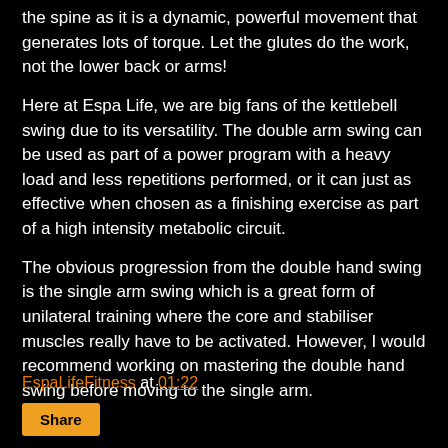the spine as it is a dynamic, powerful movement that generates lots of torque. Let the glutes do the work, not the lower back or arms!
Here at Espa Life, we are big fans of the kettlebell swing due to its versatility. The double arm swing can be used as part of a power program with a heavy load and less repetitions performed, or it can just as effective when chosen as a finishing exercise as part of a high intensity metabolic circuit.
The obvious progression from the double hand swing is the single arm swing which is a great form of unilateral training where the core and stabiliser muscles really have to be activated. However, I would recommend working on mastering the double hand swing before moving to the single arm.
EspaLifeFitness at 01:22  Share